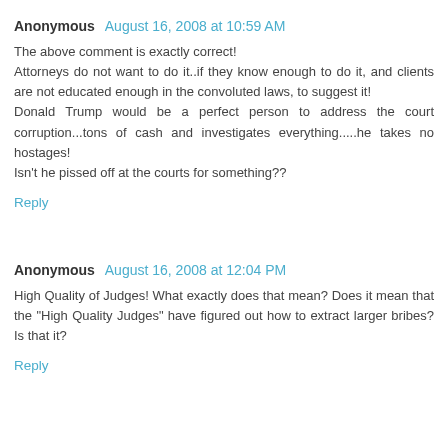Anonymous August 16, 2008 at 10:59 AM
The above comment is exactly correct!
Attorneys do not want to do it..if they know enough to do it, and clients are not educated enough in the convoluted laws, to suggest it!
Donald Trump would be a perfect person to address the court corruption...tons of cash and investigates everything.....he takes no hostages!
Isn't he pissed off at the courts for something??
Reply
Anonymous August 16, 2008 at 12:04 PM
High Quality of Judges! What exactly does that mean? Does it mean that the "High Quality Judges" have figured out how to extract larger bribes? Is that it?
Reply